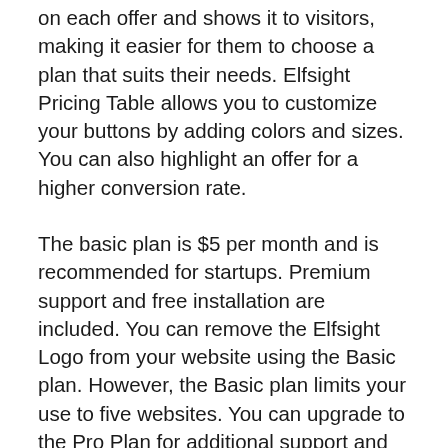on each offer and shows it to visitors, making it easier for them to choose a plan that suits their needs. Elfsight Pricing Table allows you to customize your buttons by adding colors and sizes. You can also highlight an offer for a higher conversion rate.
The basic plan is $5 per month and is recommended for startups. Premium support and free installation are included. You can remove the Elfsight Logo from your website using the Basic plan. However, the Basic plan limits your use to five websites. You can upgrade to the Pro Plan for additional support and 50,000 more views. The Pro plan costs $75 per month, and it includes all of the features of the Basic Plan, as well as the Premium Support and Free Installation